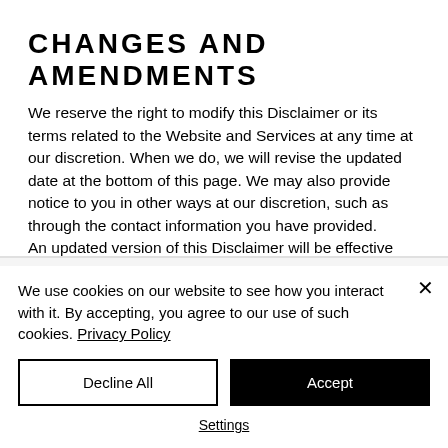CHANGES AND AMENDMENTS
We reserve the right to modify this Disclaimer or its terms related to the Website and Services at any time at our discretion. When we do, we will revise the updated date at the bottom of this page. We may also provide notice to you in other ways at our discretion, such as through the contact information you have provided.
An updated version of this Disclaimer will be effective immediately upon the posting
We use cookies on our website to see how you interact with it. By accepting, you agree to our use of such cookies. Privacy Policy
Decline All
Accept
Settings